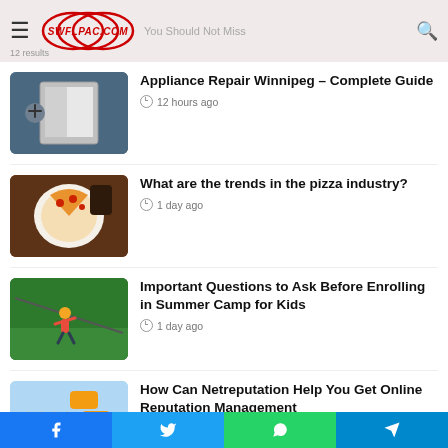SWFLPAC.COM — You Should Not Miss
[Figure (photo): Appliance repair technician working on a refrigerator]
Appliance Repair Winnipeg – Complete Guide
12 hours ago
[Figure (photo): Pizza slice on a white plate]
What are the trends in the pizza industry?
1 day ago
[Figure (photo): Child doing zip-line at summer camp]
Important Questions to Ask Before Enrolling in Summer Camp for Kids
1 day ago
[Figure (photo): Online reputation management illustration with stars and icons]
How Can Netreputation Help You Get Online Reputation Management
Facebook | Twitter | WhatsApp | Telegram